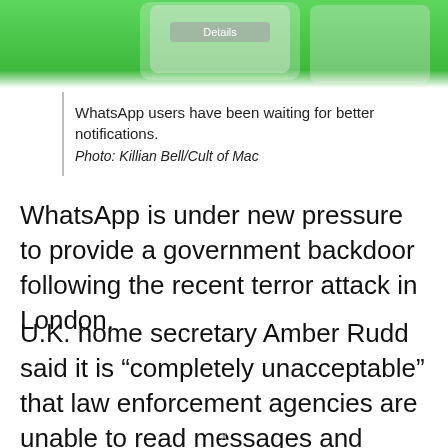[Figure (photo): Top portion of a smartphone photo showing WhatsApp or messaging app with green background and phone screen details visible]
WhatsApp users have been waiting for better notifications.
Photo: Killian Bell/Cult of Mac
WhatsApp is under new pressure to provide a government backdoor following the recent terror attack in London.
U.K. home secretary Amber Rudd said it is “completely unacceptable” that law enforcement agencies are unable to read messages and conversations that are secured by end-to-end encryption.
x